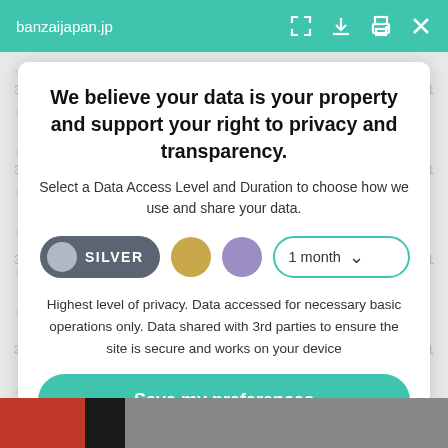banzaijapan.jp
We believe your data is your property and support your right to privacy and transparency.
Select a Data Access Level and Duration to choose how we use and share your data.
[Figure (other): Privacy level selector with SILVER toggle button (dark grey pill with grey circle), gold circle, purple circle, and '1 month' dropdown with teal border]
Highest level of privacy. Data accessed for necessary basic operations only. Data shared with 3rd parties to ensure the site is secure and works on your device
Save my preferences
Customize   Privacy policy  |  Do Not Sell